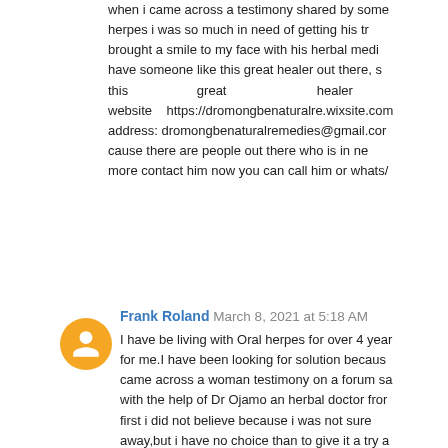when i came across a testimony shared by some herpes i was so much in need of getting his tr brought a smile to my face with his herbal medi have someone like this great healer out there, s this great healer website https://dromongbenaturalre.wixsite.com address: dromongbenaturalremedies@gmail.cor cause there are people out there who is in ne more contact him now you can call him or whats/
Reply
Frank Roland March 8, 2021 at 5:18 AM
I have be living with Oral herpes for over 4 year for me.I have been looking for solution becaus came across a woman testimony on a forum sa with the help of Dr Ojamo an herbal doctor fror first i did not believe because i was not sure away,but i have no choice than to give it a try a explain my problems, then he told me not to